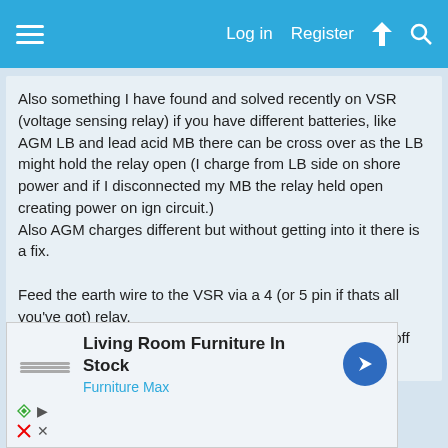Log in  Register
Also something I have found and solved recently on VSR (voltage sensing relay) if you have different batteries, like AGM LB and lead acid MB there can be cross over as the LB might hold the relay open (I charge from LB side on shore power and if I disconnected my MB the relay held open creating power on ign circuit.)
Also AGM charges different but without getting into it there is a fix.

Feed the earth wire to the VSR via a 4 (or 5 pin if thats all you've got) relay.
Make the earth feed relay ign switched to cut earth (turn off relay) when parked up and ign off
[Figure (infographic): Advertisement banner: Living Room Furniture In Stock - Furniture Max, with navigation arrow icon]